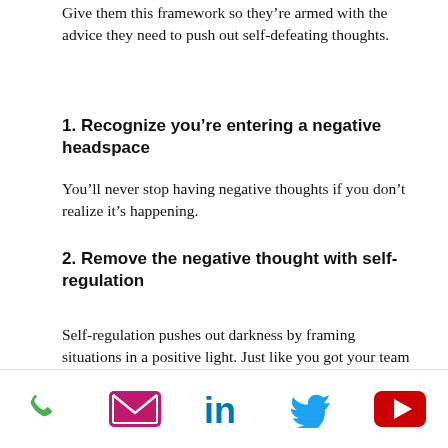Give them this framework so they’re armed with the advice they need to push out self-defeating thoughts.
1. Recognize you’re entering a negative headspace
You’ll never stop having negative thoughts if you don’t realize it’s happening.
2. Remove the negative thought with self-regulation
Self-regulation pushes out darkness by framing situations in a positive light. Just like you got your team to stop talking about a setback as an end-of-the-world failure, you’ll now get them to turn negative thoughts into positive ones.
3. Create positive spaces with self-activation
Phone | Email | LinkedIn | Twitter | YouTube